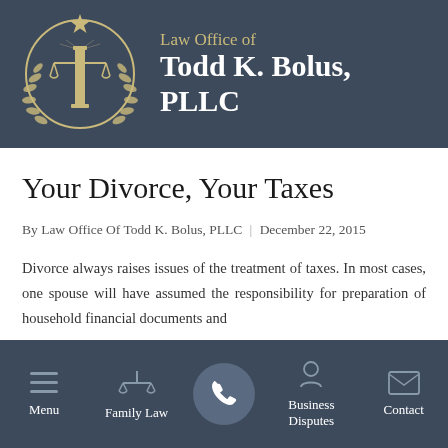Law Office of Todd K. Bolus, PLLC
Your Divorce, Your Taxes
By Law Office Of Todd K. Bolus, PLLC | December 22, 2015
Divorce always raises issues of the treatment of taxes. In most cases, one spouse will have assumed the responsibility for preparation of household financial documents and
Menu | Family Law | [Call] | Business Disputes | Contact